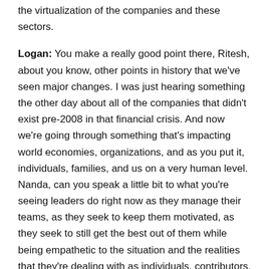the virtualization of the companies and these sectors.
Logan: You make a really good point there, Ritesh, about you know, other points in history that we've seen major changes. I was just hearing something the other day about all of the companies that didn't exist pre-2008 in that financial crisis. And now we're going through something that's impacting world economies, organizations, and as you put it, individuals, families, and us on a very human level. Nanda, can you speak a little bit to what you're seeing leaders do right now as they manage their teams, as they seek to keep them motivated, as they seek to still get the best out of them while being empathetic to the situation and the realities that they're dealing with as individuals, contributors, as well as leaders of teams.
Nanda: Sure Logan. Cigniti was one of the first IT companies to embrace and enable work from home for all our